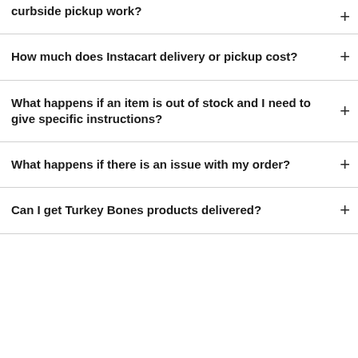curbside pickup work?
How much does Instacart delivery or pickup cost?
What happens if an item is out of stock and I need to give specific instructions?
What happens if there is an issue with my order?
Can I get Turkey Bones products delivered?